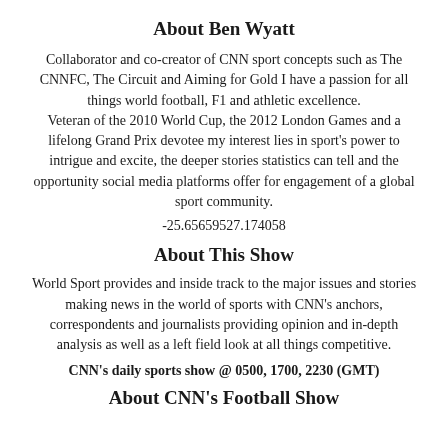About Ben Wyatt
Collaborator and co-creator of CNN sport concepts such as The CNNFC, The Circuit and Aiming for Gold I have a passion for all things world football, F1 and athletic excellence. Veteran of the 2010 World Cup, the 2012 London Games and a lifelong Grand Prix devotee my interest lies in sport's power to intrigue and excite, the deeper stories statistics can tell and the opportunity social media platforms offer for engagement of a global sport community.
-25.65659527.174058
About This Show
World Sport provides and inside track to the major issues and stories making news in the world of sports with CNN's anchors, correspondents and journalists providing opinion and in-depth analysis as well as a left field look at all things competitive.
CNN's daily sports show @ 0500, 1700, 2230 (GMT)
About CNN's Football Show